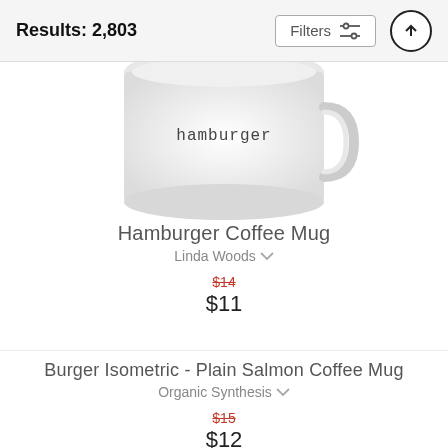Results: 2,803
[Figure (photo): Partial view of a white ceramic coffee mug with the word 'hamburger' printed on it in a typewriter-style font]
Hamburger Coffee Mug
Linda Woods
$14 (original price, strikethrough) $11 (sale price)
Burger Isometric - Plain Salmon Coffee Mug
Organic Synthesis
$15 (original price, strikethrough) $12 (sale price)